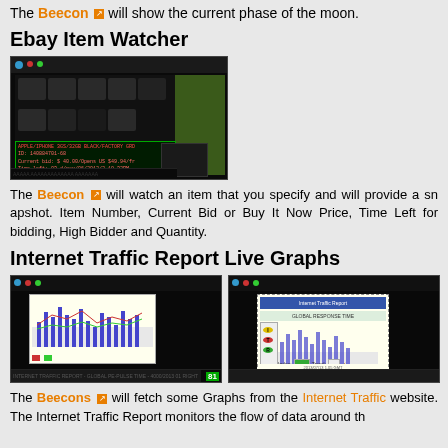The Beecon will show the current phase of the moon.
Ebay Item Watcher
[Figure (screenshot): Screenshot of Ebay Item Watcher Beecon showing item thumbnails and bid information overlay]
The Beecon will watch an item that you specify and will provide a snapshot. Item Number, Current Bid or Buy It Now Price, Time Left for bidding, High Bidder and Quantity.
Internet Traffic Report Live Graphs
[Figure (screenshot): Two screenshots of Internet Traffic Report Beecon showing bar graph and ITR logo]
The Beecons will fetch some Graphs from the Internet Traffic website. The Internet Traffic Report monitors the flow of data around th